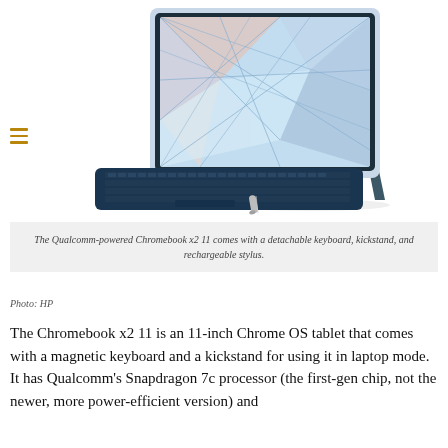[Figure (photo): HP Chromebook x2 11 tablet with detachable dark blue keyboard, kickstand propped up showing a geometric colorful screen design, and a silver rechargeable stylus in front.]
The Qualcomm-powered Chromebook x2 11 comes with a detachable keyboard, kickstand, and rechargeable stylus.
Photo: HP
The Chromebook x2 11 is an 11-inch Chrome OS tablet that comes with a magnetic keyboard and a kickstand for using it in laptop mode. It has Qualcomm's Snapdragon 7c processor (the first-gen chip, not the newer, more power-efficient version) and